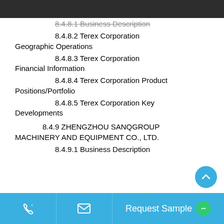8.4.8.1 Business Description
8.4.8.2 Terex Corporation Geographic Operations
8.4.8.3 Terex Corporation Financial Information
8.4.8.4 Terex Corporation Product Positions/Portfolio
8.4.8.5 Terex Corporation Key Developments
8.4.9 ZHENGZHOU SANQGROUP MACHINERY AND EQUIPMENT CO., LTD.
8.4.9.1 Business Description
Request Sample